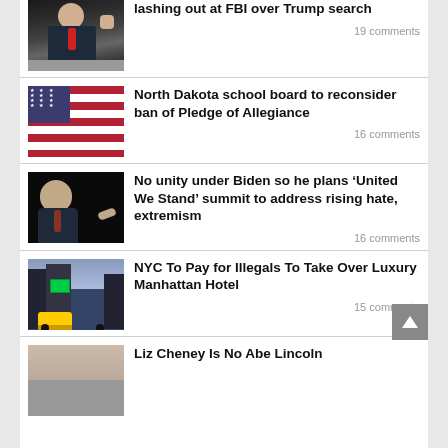[Figure (photo): Man in dark suit with fist raised, dark background]
Pence Tells GOP to Stop lashing out at FBI over Trump search
19 comments
[Figure (photo): American flag with blue canton and red and white stripes]
North Dakota school board to reconsider ban of Pledge of Allegiance
16 comments
[Figure (photo): Joe Biden profile view pointing finger, dark background]
No unity under Biden so he plans ‘United We Stand’ summit to address rising hate, extremism
16 comments
[Figure (photo): NYC Times Square with yellow taxis and bright billboards]
NYC To Pay for Illegals To Take Over Luxury Manhattan Hotel
15 comments
[Figure (photo): Liz Cheney partial photo]
Liz Cheney Is No Abe Lincoln